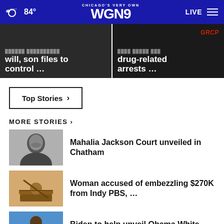CHICAGO'S VERY OWN WGN9 | 84° | LIVE
[Figure (screenshot): Hero news card left: partial headline text 'will, son files to control ...' on dark background]
[Figure (screenshot): Hero news card right: partial headline 'drug-related arrests ...' on dark background with red text label]
Top Stories ›
MORE STORIES ›
[Figure (photo): Black and white photo of Mahalia Jackson smiling]
Mahalia Jackson Court unveiled in Chatham
[Figure (photo): Photo of a wooden gavel and scales of justice]
Woman accused of embezzling $270K from Indy PBS, …
[Figure (photo): Photo of a man in a suit against blue background]
Biden to help unveil Obama White House portrait